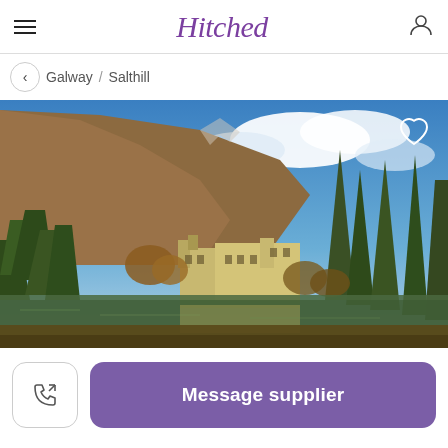Hitched
Galway / Salthill
[Figure (photo): Scenic photo of a castle or manor house reflected in a lake, surrounded by autumn trees and a mountain with blue sky and clouds in the background]
Message supplier